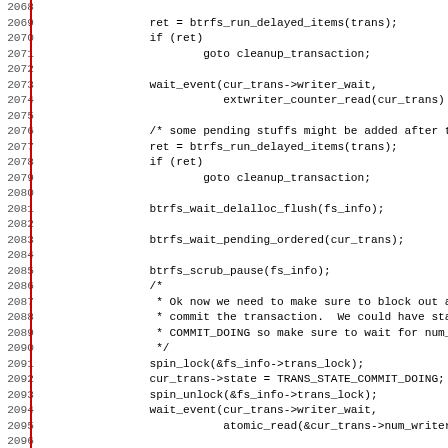[Figure (other): Source code listing (C) showing lines 2068-2099 of a btrfs filesystem transaction commit function, with line numbers on the left and a red vertical line separator.]